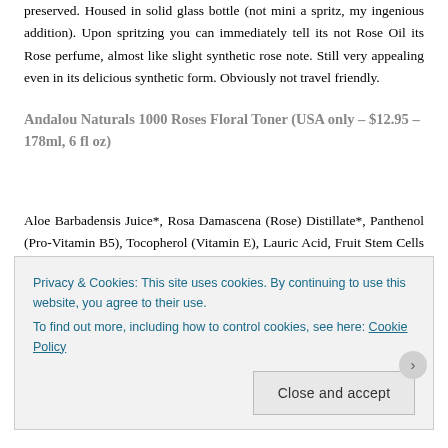preserved. Housed in solid glass bottle (not mini a spritz, my ingenious addition). Upon spritzing you can immediately tell its not Rose Oil its Rose perfume, almost like slight synthetic rose note. Still very appealing even in its delicious synthetic form. Obviously not travel friendly.
Andalou Naturals 1000 Roses Floral Toner (USA only – $12.95 – 178ml, 6 fl oz)
Aloe Barbadensis Juice*, Rosa Damascena (Rose) Distillate*, Panthenol (Pro-Vitamin B5), Tocopherol (Vitamin E), Lauric Acid, Fruit Stem Cells (Alpine Rose, Malus Domestsica, Solar Vitis) and BioActive 8 Berry Complex*, Soothing Complex: [Hyaluronic Acid, Magnolia Officinalis Bark, Phoenix Dactylifera (Date) Leaf Cell and Boswellia Serrata (Boswellin) Extracts], Punica Granatum
Privacy & Cookies: This site uses cookies. By continuing to use this website, you agree to their use.
To find out more, including how to control cookies, see here: Cookie Policy
Close and accept